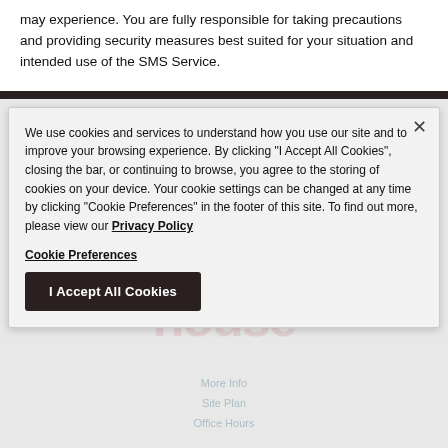may experience. You are fully responsible for taking precautions and providing security measures best suited for your situation and intended use of the SMS Service.
We use cookies and services to understand how you use our site and to improve your browsing experience. By clicking "I Accept All Cookies", closing the bar, or continuing to browse, you agree to the storing of cookies on your device. Your cookie settings can be changed at any time by clicking "Cookie Preferences" in the footer of this site. To find out more, please view our Privacy Policy
Cookie Preferences
I Accept All Cookies